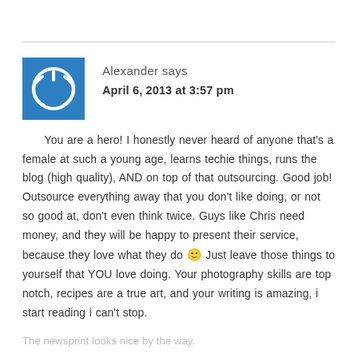Alexander says
April 6, 2013 at 3:57 pm
You are a hero! I honestly never heard of anyone that's a female at such a young age, learns techie things, runs the blog (high quality), AND on top of that outsourcing. Good job! Outsource everything away that you don't like doing, or not so good at, don't even think twice. Guys like Chris need money, and they will be happy to present their service, because they love what they do 🙂 Just leave those things to yourself that YOU love doing. Your photography skills are top notch, recipes are a true art, and your writing is amazing, i start reading i can't stop.
The newsprint looks nice by the way.